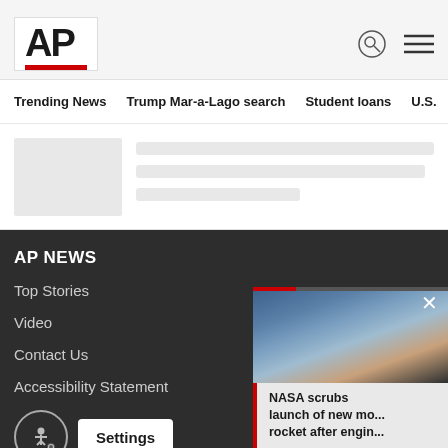AP
Trending News
Trump Mar-a-Lago search
Student loans
U.S.
[Figure (other): Loading skeleton placeholder with image thumbnail and text lines]
AP NEWS
Top Stories
Video
Contact Us
Accessibility Statement
[Figure (photo): Cloudy sky image with video popup overlay showing NASA article]
NASA scrubs launch of new mo... rocket after engin...